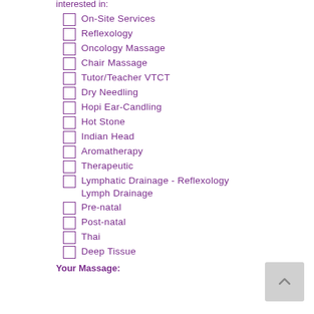interested in:
On-Site Services
Reflexology
Oncology Massage
Chair Massage
Tutor/Teacher VTCT
Dry Needling
Hopi Ear-Candling
Hot Stone
Indian Head
Aromatherapy
Therapeutic
Lymphatic Drainage - Reflexology Lymph Drainage
Pre-natal
Post-natal
Thai
Deep Tissue
Your Massage: